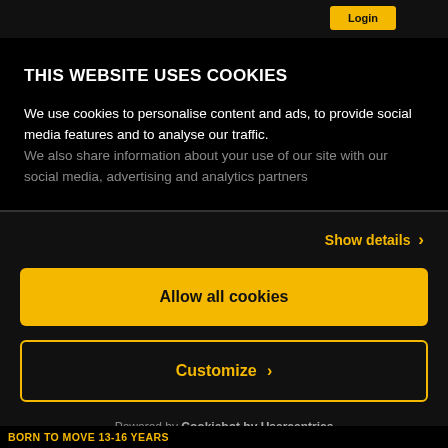THIS WEBSITE USES COOKIES
We use cookies to personalise content and ads, to provide social media features and to analyse our traffic. We also share information about your use of our site with our social media, advertising and analytics partners
Show details ›
Allow all cookies
Customize ›
Powered by Cookiebot by Usercentrics
BORN TO MOVE 13-16 YEARS